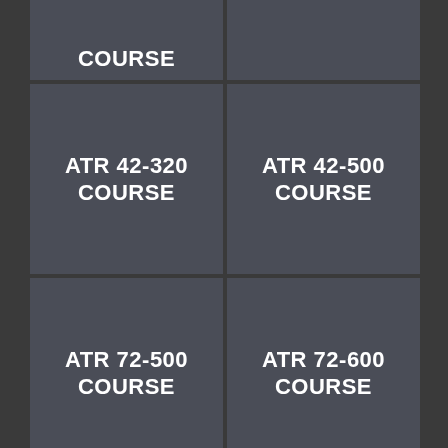COURSE
ATR 42-320 COURSE
ATR 42-500 COURSE
ATR 72-500 COURSE
ATR 72-600 COURSE
BOEING B737-300/500 COURSE
BOEING B737-300/500 WITH 400